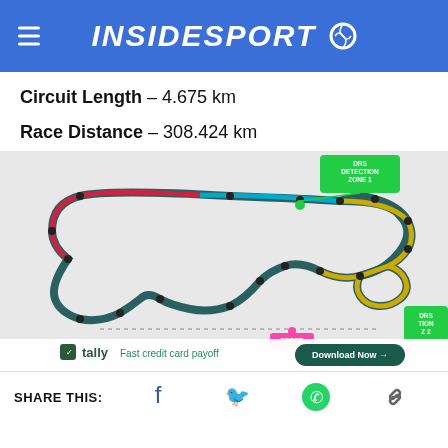INSIDESPORT
Circuit Length – 4.675 km
Race Distance – 308.424 km
[Figure (schematic): Formula 1 circuit map showing a race track layout with DRS detection zones labeled, speed trap marker, colored track sectors (red, teal, yellow), and corner numbers. Green DRS Detection Zone 1 label near top center, pink SPEED marker at bottom, DRS Zone 2 label at bottom right. Overlaid ad banner for Tally: Fast credit card payoff with Download Now button.]
SHARE THIS: